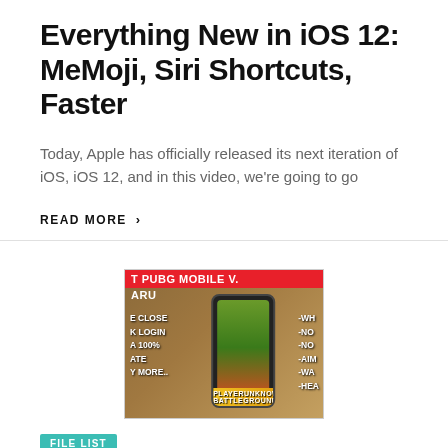Everything New in iOS 12: MeMoji, Siri Shortcuts, Faster
Today, Apple has officially released its next iteration of iOS, iOS 12, and in this video, we're going to go
READ MORE >
[Figure (photo): Thumbnail image for a PUBG Mobile video showing a smartphone with the game on screen, surrounded by text listing game features and cheats]
FILE LIST
< CARA CHEAT PUBG MOBILE 0.8